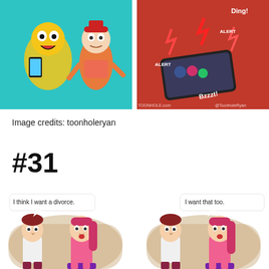[Figure (illustration): Two cartoon panels side by side at top. Left panel: characters in a cartoon style with one holding a phone, bright teal background. Right panel: a phone with social media alert sounds (Ding!, Bzzzt!, ALERT) on red background with lightning. Watermark: TOONHOLE.com and @ToonholeRyan.]
Image credits: toonholeryan
#31
[Figure (illustration): Two cartoon comic panels side by side. Left panel: A man and woman couple standing facing each other. Man says 'I think I want a divorce.' Beige/tan background. Right panel: Same couple. Woman says 'I want that too.' Both characters have red/pink hair. Woman is in pink top and purple skirt.]